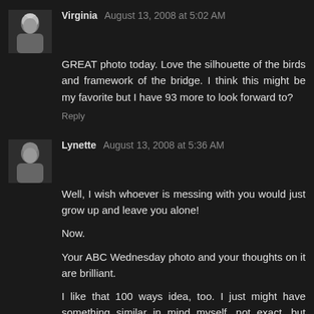[Figure (photo): Small avatar photo of Virginia, black and white, elderly woman]
Virginia August 13, 2008 at 5:02 AM
GREAT photo today. Love the silhouette of the birds and framework of the bridge. I think this might be my favorite but I have 93 more to look forward to?
Reply
[Figure (photo): Small avatar photo of Lynette, black and white, woman]
Lynette August 13, 2008 at 5:36 AM
Well, I wish whoever is messing with you would just grow up and leave you alone!

Now.

Your ABC Wednesday photo and your thoughts on it are brilliant.

I like that 100 ways idea, too. I just might have something similar in mind myself, not exact, but similar. It bears mulling around in my brain for a bit.
Reply